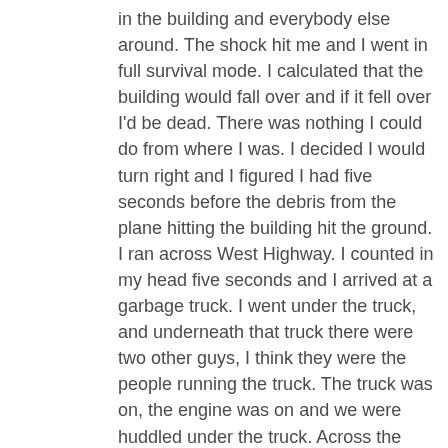in the building and everybody else around. The shock hit me and I went in full survival mode. I calculated that the building would fall over and if it fell over I'd be dead. There was nothing I could do from where I was. I decided I would turn right and I figured I had five seconds before the debris from the plane hitting the building hit the ground. I ran across West Highway. I counted in my head five seconds and I arrived at a garbage truck. I went under the truck, and underneath that truck there were two other guys, I think they were the people running the truck. The truck was on, the engine was on and we were huddled under the truck. Across the street debris was falling. I starting praying for myself and for the two other guys, I didn't know who they were. I prayed one whole “Our Father” and I remember saying: “God, save me and these other two guys too.”
Then I thought: “If the building had fallen I'd be dead now. So it hadn't fallen yet and I had better run.” I didn't know the building was going to fall,